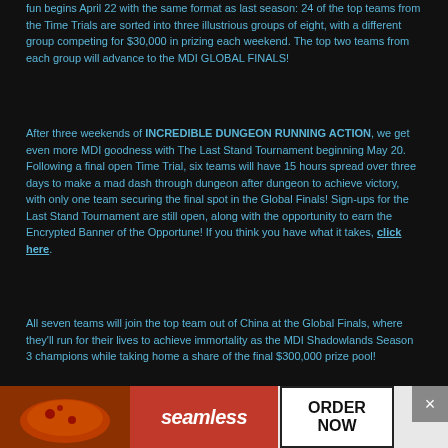fun begins April 22 with the same format as last season: 24 of the top teams from the Time Trials are sorted into three illustrious groups of eight, with a different group competing for $30,000 in prizing each weekend. The top two teams from each group will advance to the MDI GLOBAL FINALS!
After three weekends of INCREDIBLE DUNGEON RUNNING ACTION, we get even more MDI goodness with The Last Stand Tournament beginning May 20. Following a final open Time Trial, six teams will have 15 hours spread over three days to make a mad dash through dungeon after dungeon to achieve victory, with only one team securing the final spot in the Global Finals! Sign-ups for the Last Stand Tournament are still open, along with the opportunity to earn the Encrypted Banner of the Opportune! If you think you have what it takes, click here.
All seven teams will join the top team out of China at the Global Finals, where they'll run for their lives to achieve immortality as the MDI Shadowlands Season 3 champions while taking home a share of the final $300,000 prize pool!
[Figure (infographic): Mythic Dungeon International tournament bracket diagram showing Time Trials feeding into Group A (8 teams), Group B (8 teams), Group C (8 teams), each sending 2 teams to Global Finals (8 teams). Text reads: TOP 24 TEAMS (SPLIT INTO 3 GROUPS). Logo: MYTHIC DUNGEON. Right side: GLOBAL FINALS 8 TEAMS.]
[Figure (infographic): Seamless food delivery advertisement with pizza image on left, Seamless logo in center on red background, and ORDER NOW button on right with white background and dark border.]